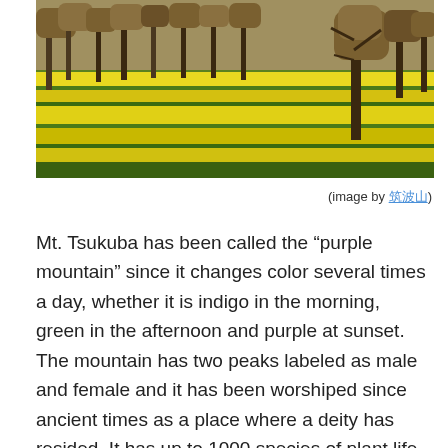[Figure (photo): Landscape photo of a field of bright yellow flowers (rapeseed/canola) with bare trees in the background, likely near Mt. Tsukuba in Japan.]
(image by 筑波山)
Mt. Tsukuba has been called the “purple mountain” since it changes color several times a day, whether it is indigo in the morning, green in the afternoon and purple at sunset. The mountain has two peaks labeled as male and female and it has been worshiped since ancient times as a place where a deity has resided. It has up to 1000 species of plant life along with many insects and wild birds so it is a